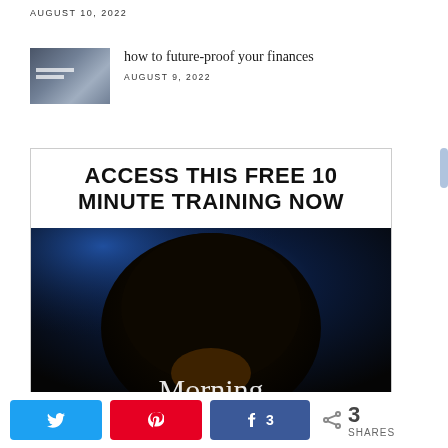AUGUST 10, 2022
how to future-proof your finances
AUGUST 9, 2022
[Figure (infographic): Promotional box with bold heading 'ACCESS THIS FREE 10 MINUTE TRAINING NOW' above an image of a person with an afro with cursive text overlay reading 'Morning']
Twitter share button, Pinterest pin button, Facebook share button with count 3, Share icon with 3 SHARES